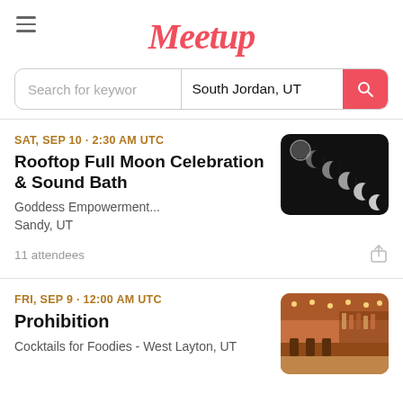[Figure (logo): Meetup logo in red/pink cursive font, with hamburger menu icon on the left]
Search for keyword  |  South Jordan, UT
SAT, SEP 10 · 2:30 AM UTC
Rooftop Full Moon Celebration & Sound Bath
Goddess Empowerment...
Sandy, UT
[Figure (photo): Moon phases sequence on a dark background, showing multiple lunar phases from full moon to crescent]
11 attendees
FRI, SEP 9 · 12:00 AM UTC
Prohibition
Cocktails for Foodies - West Layton, UT
[Figure (photo): Interior of a warm-lit bar/restaurant with wooden furniture, bar stools, and string lights]